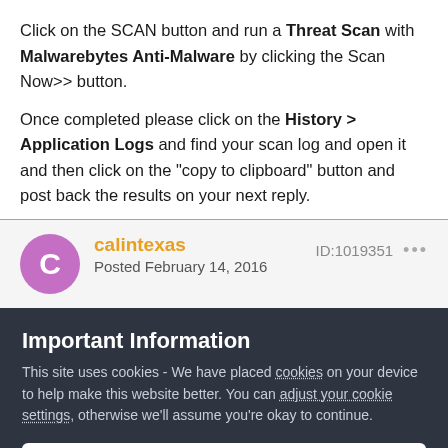Click on the SCAN button and run a Threat Scan with Malwarebytes Anti-Malware by clicking the Scan Now>> button.
Once completed please click on the History > Application Logs and find your scan log and open it and then click on the "copy to clipboard" button and post back the results on your next reply.
calintexas
Posted February 14, 2016
ID:1019351
Important Information
This site uses cookies - We have placed cookies on your device to help make this website better. You can adjust your cookie settings, otherwise we'll assume you're okay to continue.
✓  I accept